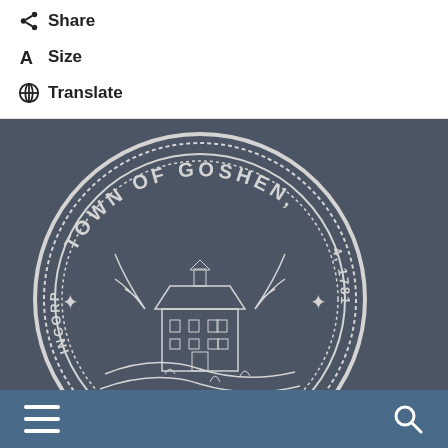Share
Size
Translate
[Figure (illustration): Town of Goshen official seal on dark gray background, showing a colonial-style building with trees and the text 'TOWN OF GOSHEN INCORPORATED 14, 1781' around the border]
Navigation bar with hamburger menu and search icon